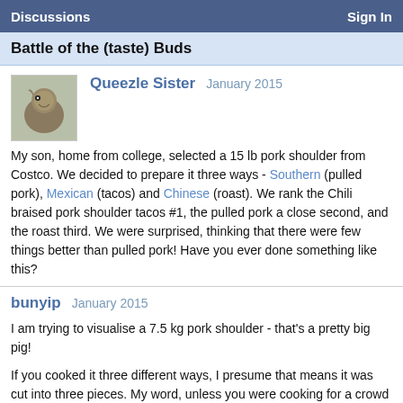Discussions | Sign In
Battle of the (taste) Buds
Queezle Sister  January 2015
My son, home from college, selected a 15 lb pork shoulder from Costco. We decided to prepare it three ways - Southern (pulled pork), Mexican (tacos) and Chinese (roast). We rank the Chili braised pork shoulder tacos #1, the pulled pork a close second, and the roast third. We were surprised, thinking that there were few things better than pulled pork! Have you ever done something like this?
bunyip  January 2015
I am trying to visualise a 7.5 kg pork shoulder - that's a pretty big pig!
If you cooked it three different ways, I presume that means it was cut into three pieces. My word, unless you were cooking for a crowd you must have had pork coming out of your ears!
MsLioness874  January 2015